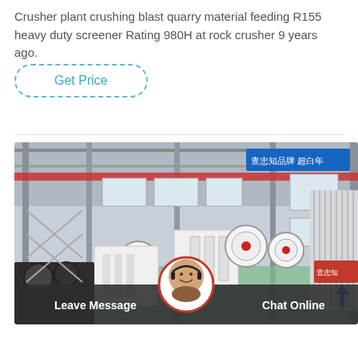Crusher plant crushing blast quarry material feeding R155 heavy duty screener Rating 980H at rock crusher 9 years ago.
[Figure (photo): Industrial factory floor showing multiple jaw crushers and heavy equipment in a large warehouse facility with overhead cranes, steel framework, and Chinese signage on the walls.]
Leave Message  Chat Online